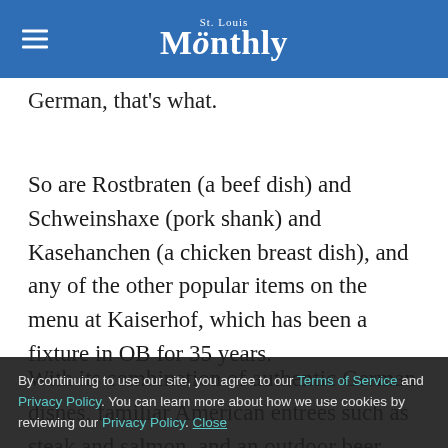St. Louis Monthly
German, that's what.
So are Rostbraten (a beef dish) and Schweinshaxe (pork shank) and Kasehanchen (a chicken breast dish), and any of the other popular items on the menu at Kaiserhof, which has been a fixture in OB for 35 years.
With its combination of authentic German dishes, familiar American entrees such as steak and salmon, and an outdoor beer garden specializing in brews that you won't find at the store or your neighborhood craft-beer hangout, Kaiserhof attracts customers from as far away as Los Angeles.
By continuing to use our site, you agree to our Terms of Service and Privacy Policy. You can learn more about how we use cookies by reviewing our Privacy Policy. Close